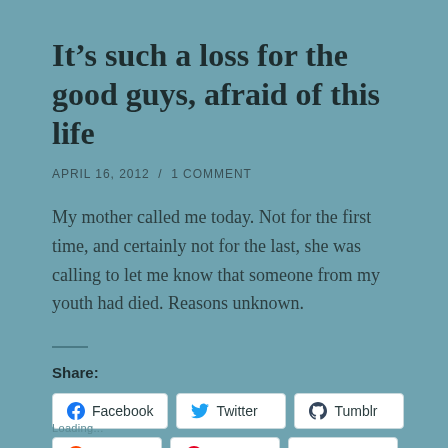It’s such a loss for the good guys, afraid of this life
APRIL 16, 2012  /  1 COMMENT
My mother called me today. Not for the first time, and certainly not for the last, she was calling to let me know that someone from my youth had died. Reasons unknown.
Share:
Loading...